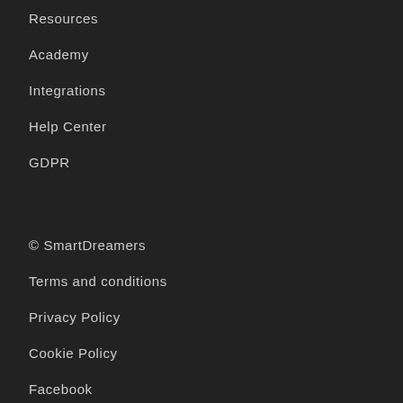Resources
Academy
Integrations
Help Center
GDPR
© SmartDreamers
Terms and conditions
Privacy Policy
Cookie Policy
Facebook
LinkedIn